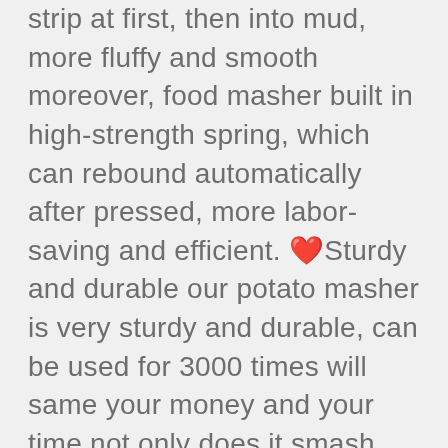special our pressure design, potatoes will be mashed as strip at first, then into mud, more fluffy and smooth moreover, food masher built in high-strength spring, which can rebound automatically after pressed, more labor-saving and efficient. ❤️Sturdy and durable our potato masher is very sturdy and durable, can be used for 3000 times will same your money and your time not only does it smash the potatoes but the holy part comes down and makes the potatoes extra fluffy. ❤️High quality stainless steel the mashed potato masher is made of 304 stainless steel, 100% bpa free, which got fda and lfgb certification safe and sanitary, never rust, sturdy and durable your food will stay 100% safe. ❤️multifunctional our potato ricer press is a great ideal tool for mashing potatoes and making other food, such as mix pumpkin puree, cooked carrot, pumpkin, avocado, poi and cheese, excellent for preparing baby food, fresh fruit juice and pitaya mud.